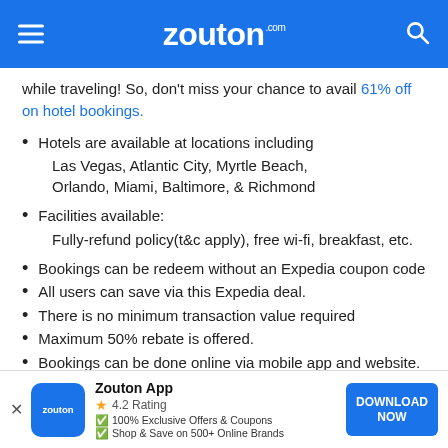zouton.com
while traveling! So, don't miss your chance to avail 61% off on hotel bookings.
Hotels are available at locations including
Las Vegas, Atlantic City, Myrtle Beach, Orlando, Miami, Baltimore, & Richmond
Facilities available:
Fully-refund policy(t&c apply), free wi-fi, breakfast, etc.
Bookings can be redeem without an Expedia coupon code
All users can save via this Expedia deal.
There is no minimum transaction value required
Maximum 50% rebate is offered.
Bookings can be done online via mobile app and website.
Find out many more exciting deals and discounts on hotel
Zouton App — 4.2 Rating — 100% Exclusive Offers & Coupons — Shop & Save on 500+ Online Brands — DOWNLOAD NOW